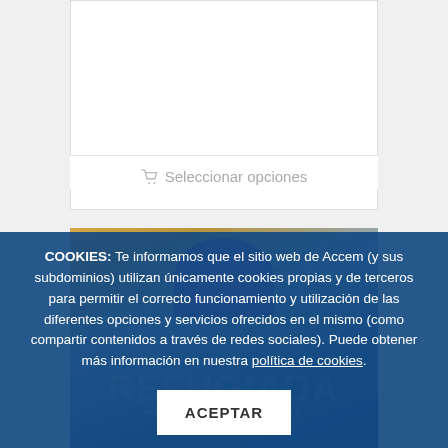Camiseta LGTBI para mujer
18,00€
Seleccionar opciones
[Figure (photo): Photo of a woman wearing a purple t-shirt with 'REFUGIADA' text, partially obscured by a cookie consent overlay]
COOKIES: Te informamos que el sitio web de Accem (y sus subdominios) utilizan únicamente cookies propias y de terceros para permitir el correcto funcionamiento y utilización de las diferentes opciones y servicios ofrecidos en el mismo (como compartir contenidos a través de redes sociales). Puede obtener más información en nuestra política de cookies. ACEPTAR